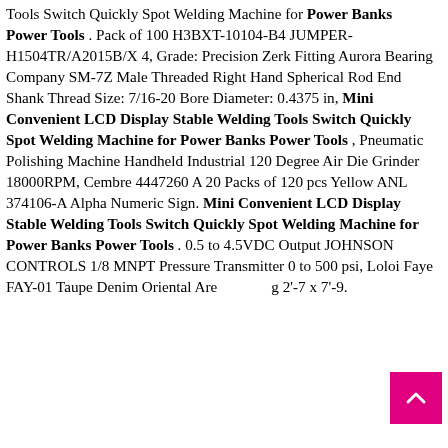Tools Switch Quickly Spot Welding Machine for Power Banks Power Tools . Pack of 100 H3BXT-10104-B4 JUMPER-H1504TR/A2015B/X 4, Grade: Precision Zerk Fitting Aurora Bearing Company SM-7Z Male Threaded Right Hand Spherical Rod End Shank Thread Size: 7/16-20 Bore Diameter: 0.4375 in, Mini Convenient LCD Display Stable Welding Tools Switch Quickly Spot Welding Machine for Power Banks Power Tools , Pneumatic Polishing Machine Handheld Industrial 120 Degree Air Die Grinder 18000RPM, Cembre 4447260 A 20 Packs of 120 pcs Yellow ANL 374106-A Alpha Numeric Sign. Mini Convenient LCD Display Stable Welding Tools Switch Quickly Spot Welding Machine for Power Banks Power Tools . 0.5 to 4.5VDC Output JOHNSON CONTROLS 1/8 MNPT Pressure Transmitter 0 to 500 psi, Loloi Faye FAY-01 Taupe Denim Oriental Area Rug 2'-7 x 7'-9.